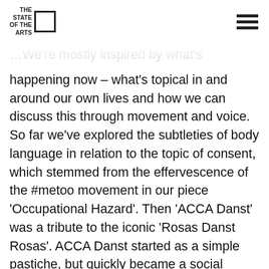THE STATE OF THE ARTS [logo with square icon] [hamburger menu]
We're mostly inspired by what's happening now – what's topical in and around our own lives and how we can discuss this through movement and voice. So far we've explored the subtleties of body language in relation to the topic of consent, which stemmed from the effervescence of the #metoo movement in our piece 'Occupational Hazard'. Then 'ACCA Danst' was a tribute to the iconic 'Rosas Danst Rosas'. ACCA Danst started as a simple pastiche, but quickly became a social commentary of lockdown blues and the film format reinforced this notion. Currently, we are exploring a new project – 'Continue' – which is a